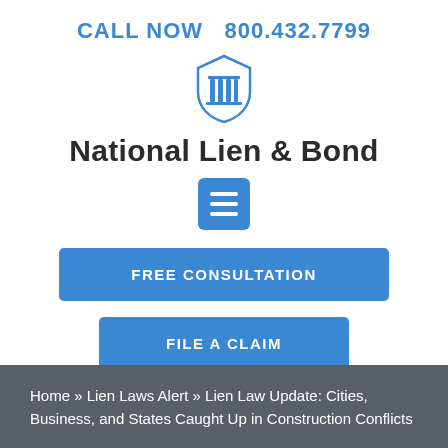CALL NOW  800.432.7799
[Figure (logo): Shield icon with columns — National Lien & Bond logo]
National Lien & Bond
[Figure (other): Blue square hamburger menu button with three white horizontal bars]
FREE CONSULTATION
FILE A CLAIM
Home » Lien Laws Alert » Lien Law Update: Cities, Business, and States Caught Up in Construction Conflicts